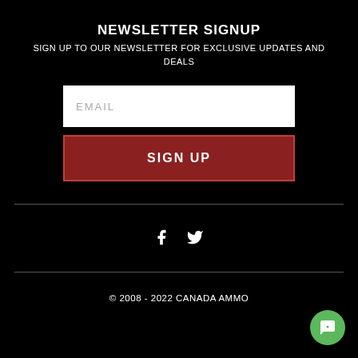NEWSLETTER SIGNUP
SIGN UP TO OUR NEWSLETTER FOR EXCLUSIVE UPDATES AND DEALS
[Figure (screenshot): Email input field (white rectangle with placeholder text EMAIL)]
SIGN UP
[Figure (infographic): Horizontal divider line]
[Figure (infographic): Social media icons: Facebook (f) and Twitter (bird)]
[Figure (infographic): Horizontal divider line]
© 2008 - 2022 CANADA AMMO